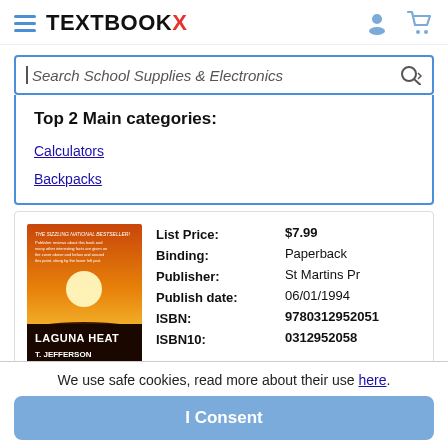TEXTBOOKX
Search School Supplies & Electronics
Top 2 Main categories:
Calculators
Backpacks
| Field | Value |
| --- | --- |
| List Price: | $7.99 |
| Binding: | Paperback |
| Publisher: | St Martins Pr |
| Publish date: | 06/01/1994 |
| ISBN: | 9780312952051 |
| ISBN10: | 0312952058 |
We use safe cookies, read more about their use here.
I Consent